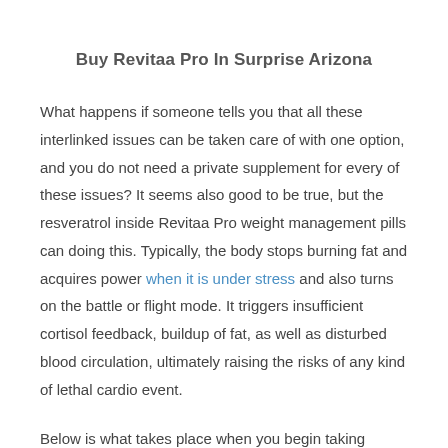Buy Revitaa Pro In Surprise Arizona
What happens if someone tells you that all these interlinked issues can be taken care of with one option, and you do not need a private supplement for every of these issues? It seems also good to be true, but the resveratrol inside Revitaa Pro weight management pills can doing this. Typically, the body stops burning fat and acquires power when it is under stress and also turns on the battle or flight mode. It triggers insufficient cortisol feedback, buildup of fat, as well as disturbed blood circulation, ultimately raising the risks of any kind of lethal cardio event.
Below is what takes place when you begin taking Revitaa Pro weight loss pills.